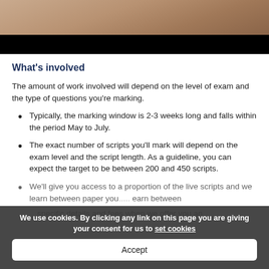[Figure (photo): Partial photo of a person in a white top, with a black bar at the bottom of the image area]
What’s involved
The amount of work involved will depend on the level of exam and the type of questions you’re marking.
Typically, the marking window is 2-3 weeks long and falls within the period May to July.
The exact number of scripts you’ll mark will depend on the exam level and the script length. As a guideline, you can expect the target to be between 200 and 450 scripts.
We use cookies. By clicking any link on this page you are giving your consent for us to set cookies
Accept